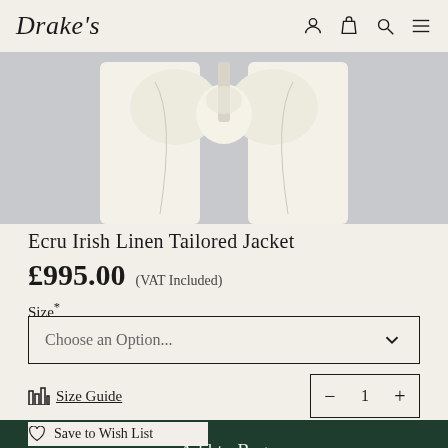Drake's
[Figure (photo): Ecru Irish Linen Tailored Jacket on grey background, showing collar and front details]
Ecru Irish Linen Tailored Jacket
£995.00  (VAT Included)
Size*
Choose an Option...
Size Guide
1
Add to Bag
Save to Wish List